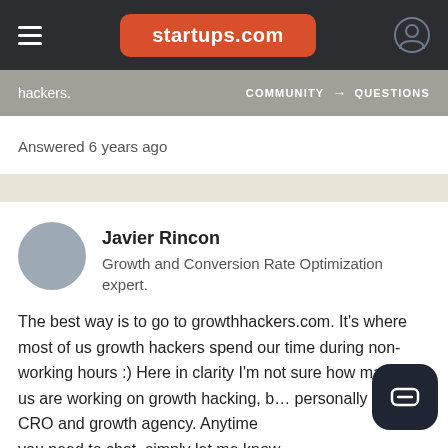startups.com
hackers.   COMMUNITY → QUESTIONS
Answered 6 years ago
Javier Rincon
Growth and Conversion Rate Optimization expert.
The best way is to go to growthhackers.com. It's where most of us growth hackers spend our time during non-working hours :) Here in clarity I'm not sure how many of us are working on growth hacking, but I personally run a CRO and growth agency. Anytime you need to chat, simply let me know.